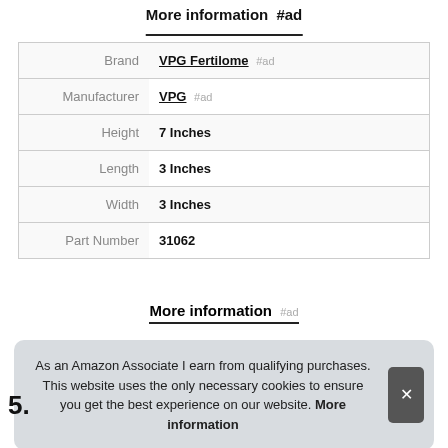More information #ad
|  |  |
| --- | --- |
| Brand | VPG Fertilome #ad |
| Manufacturer | VPG #ad |
| Height | 7 Inches |
| Length | 3 Inches |
| Width | 3 Inches |
| Part Number | 31062 |
More information #ad
As an Amazon Associate I earn from qualifying purchases. This website uses the only necessary cookies to ensure you get the best experience on our website. More information
5.